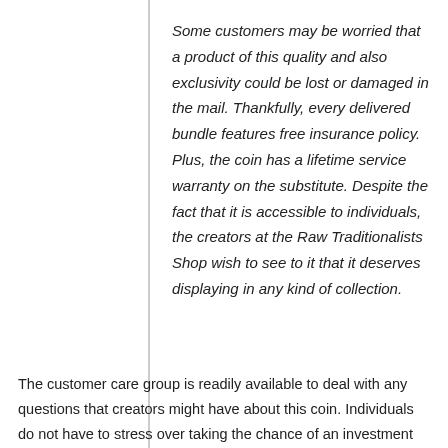Some customers may be worried that a product of this quality and also exclusivity could be lost or damaged in the mail. Thankfully, every delivered bundle features free insurance policy. Plus, the coin has a lifetime service warranty on the substitute. Despite the fact that it is accessible to individuals, the creators at the Raw Traditionalists Shop wish to see to it that it deserves displaying in any kind of collection.
The customer care group is readily available to deal with any questions that creators might have about this coin. Individuals do not have to stress over taking the chance of an investment